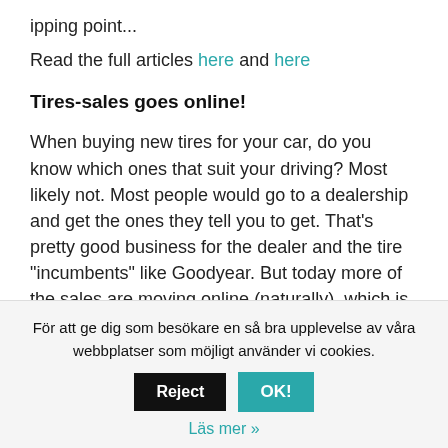ipping point...
Read the full articles here and here
Tires-sales goes online!
When buying new tires for your car, do you know which ones that suit your driving? Most likely not. Most people would go to a dealership and get the ones they tell you to get. That’s pretty good business for the dealer and the tire “incumbents” like Goodyear. But today more of the sales are moving online (naturally), which is likely to be damaging for the traditional business models. Goodyear gets crammed on margin by actors like Amazon and dealers loose business. However, as most people have
För att ge dig som besökare en så bra upplevelse av våra webbplatser som möjligt använder vi cookies.
Reject
OK!
Läs mer »